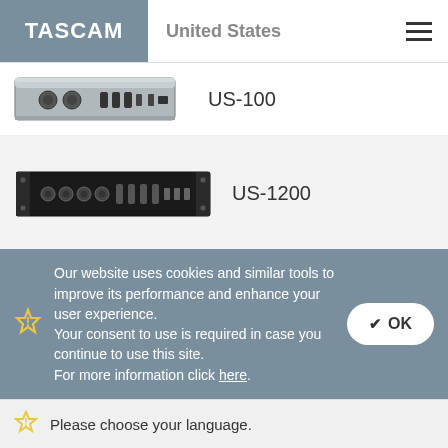TASCAM | United States
[Figure (photo): TASCAM US-100 USB audio interface product photo]
US-100
[Figure (photo): TASCAM US-1200 USB audio interface product photo, rack-mount style]
US-1200
[Figure (photo): TASCAM US-122MKII USB audio interface product photo, partially visible]
US-122MKII
Our website uses cookies and similar tools to improve its performance and enhance your user experience.
Your consent to use is required in case you continue to use this site.
For more information click here.
Please choose your language.